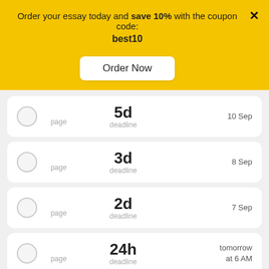Order your essay today and save 10% with the coupon code: best10
Order Now
5d deadline — 10 Sep
3d deadline — 8 Sep
2d deadline — 7 Sep
24h deadline — tomorrow at 6 AM
8h deadline — today at 2 PM